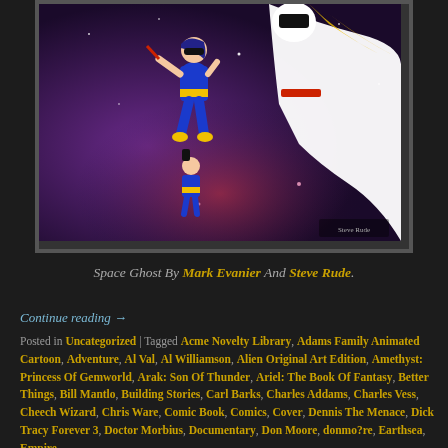[Figure (illustration): Comic illustration of Space Ghost characters - a female figure in blue and yellow costume (Jan), a small figure (Jace) below, and Space Ghost in white flying to the right, against a purple/blue space background]
Space Ghost By Mark Evanier And Steve Rude.
Continue reading →
Posted in Uncategorized | Tagged Acme Novelty Library, Adams Family Animated Cartoon, Adventure, Al Val, Al Williamson, Alien Original Art Edition, Amethyst: Princess Of Gemworld, Arak: Son Of Thunder, Ariel: The Book Of Fantasy, Better Things, Bill Mantlo, Building Stories, Carl Barks, Charles Addams, Charles Vess, Cheech Wizard, Chris Ware, Comic Book, Comics, Cover, Dennis The Menace, Dick Tracy Forever 3, Doctor Morbius, Documentary, Don Moore, donmo?re, Earthsea, Empire